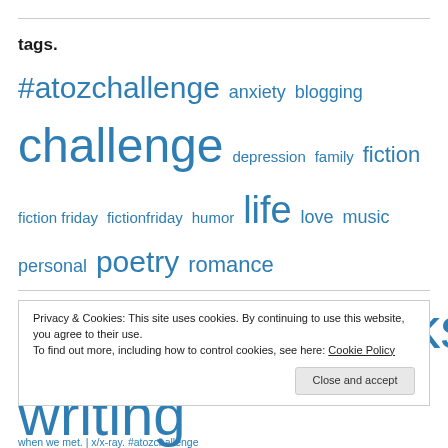tags.
#atozchallenge anxiety blogging challenge depression family fiction fiction friday fictionfriday humor life love music personal poetry romance whatsandrathinks writing
Privacy & Cookies: This site uses cookies. By continuing to use this website, you agree to their use. To find out more, including how to control cookies, see here: Cookie Policy
when we met. | x/x-ray. #atozchallenge